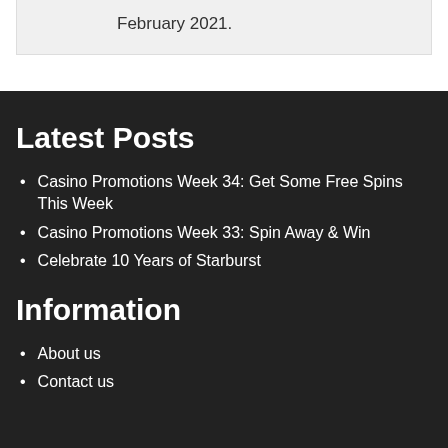February 2021.
Latest Posts
Casino Promotions Week 34: Get Some Free Spins This Week
Casino Promotions Week 33: Spin Away & Win
Celebrate 10 Years of Starburst
Information
About us
Contact us